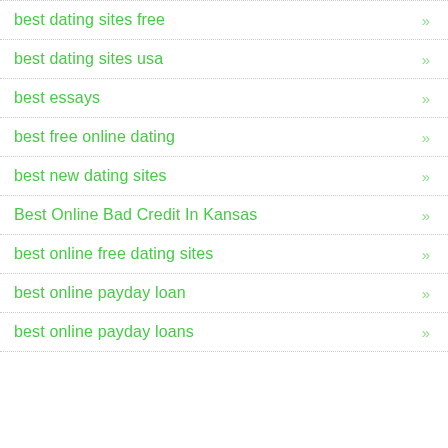best dating sites free
best dating sites usa
best essays
best free online dating
best new dating sites
Best Online Bad Credit In Kansas
best online free dating sites
best online payday loan
best online payday loans